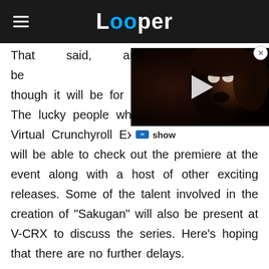Looper
[Figure (screenshot): Video player thumbnail showing a horror movie still (face with white eyes) with a play button overlay and a 'show' label bar at the bottom. A close (X) button is in the top right corner.]
That said, an episode will be shown, though it will be for an exclusive audience. The lucky people who'll be present for the Virtual Crunchyroll Expo (V-CRX) in August will be able to check out the premiere at the event along with a host of other exciting releases. Some of the talent involved in the creation of "Sakugan" will also be present at V-CRX to discuss the series. Here's hoping that there are no further delays.